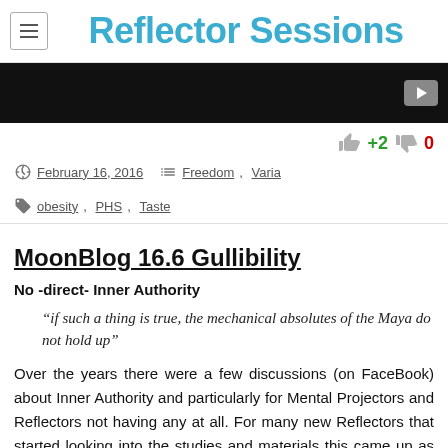Reflector Sessions
[Figure (screenshot): Black video player bar with a play button icon in the top right corner]
+2  0
February 16, 2016   Freedom, Varia   obesity, PHS, Taste
MoonBlog 16.6 Gullibility
No -direct- Inner Authority
“if such a thing is true, the mechanical absolutes of the Maya do not hold up”
Over the years there were a few discussions (on FaceBook) about Inner Authority and particularly for Mental Projectors and Reflectors not having any at all. For many new Reflectors that started looking into the studies and materials this came up as odd or